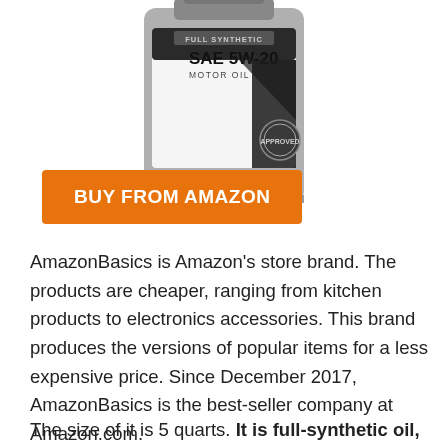[Figure (photo): AmazonBasics Full Synthetic SAE 5W-20 Motor Oil container, 5 US QT (4.73 L), gray bottle with black and white label]
[Figure (other): Orange 'BUY FROM AMAZON' button]
AmazonBasics is Amazon's store brand. The products are cheaper, ranging from kitchen products to electronics accessories. This brand produces the versions of popular items for a less expensive price. Since December 2017, AmazonBasics is the best-seller company at Amazon.com.
The size of it is 5 quarts. It is full-synthetic oil,